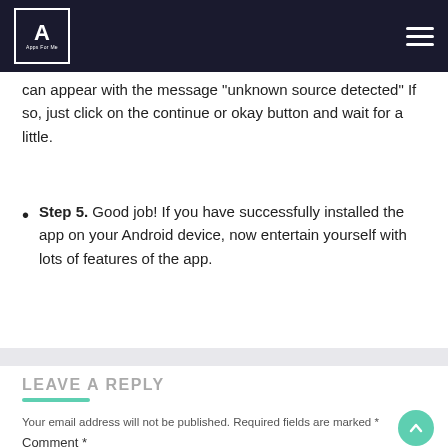Apps For Me
can appear with the message "unknown source detected" If so, just click on the continue or okay button and wait for a little.
Step 5. Good job! If you have successfully installed the app on your Android device, now entertain yourself with lots of features of the app.
LEAVE A REPLY
Your email address will not be published. Required fields are marked *
Comment *